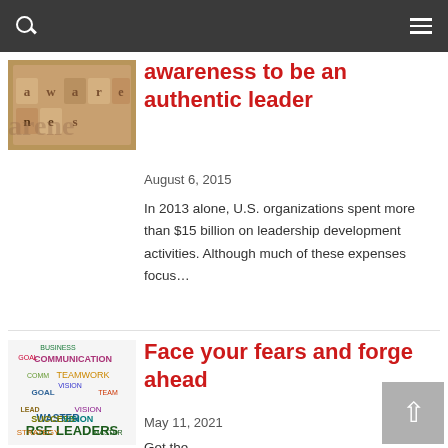Navigation bar with search and menu icons
awareness to be an authentic leader
August 6, 2015
In 2013 alone, U.S. organizations spent more than $15 billion on leadership development activities. Although much of these expenses focus…
[Figure (photo): Wooden letter tiles spelling 'awareness']
Face your fears and forge ahead
May 11, 2021
Get the…
[Figure (illustration): Word cloud for nurse leaders with words: Goal, Teamwork, Communication, Business, Lead, Vision, Success, Strategy, Master, Team]